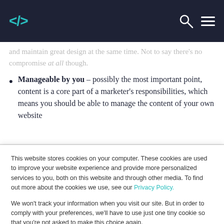</> [search icon] [hamburger menu]
and maintain great design at the same time. Not to say there’s no compromise at all though.
Manageable by you – possibly the most important point, content is a core part of a marketer’s responsibilities, which means you should be able to manage the content of your own website
This website stores cookies on your computer. These cookies are used to improve your website experience and provide more personalized services to you, both on this website and through other media. To find out more about the cookies we use, see our Privacy Policy.

We won’t track your information when you visit our site. But in order to comply with your preferences, we’ll have to use just one tiny cookie so that you’re not asked to make this choice again.